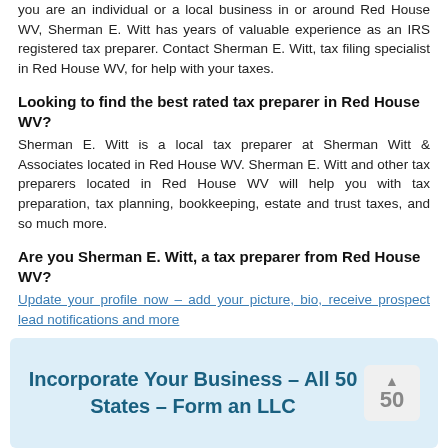you are an individual or a local business in or around Red House WV, Sherman E. Witt has years of valuable experience as an IRS registered tax preparer. Contact Sherman E. Witt, tax filing specialist in Red House WV, for help with your taxes.
Looking to find the best rated tax preparer in Red House WV?
Sherman E. Witt is a local tax preparer at Sherman Witt & Associates located in Red House WV. Sherman E. Witt and other tax preparers located in Red House WV will help you with tax preparation, tax planning, bookkeeping, estate and trust taxes, and so much more.
Are you Sherman E. Witt, a tax preparer from Red House WV?
Update your profile now – add your picture, bio, receive prospect lead notifications and more
[Figure (infographic): Light blue banner advertisement: 'Incorporate Your Business – All 50 States – Form an LLC' with a scroll-to-top badge showing '50' and an up arrow]